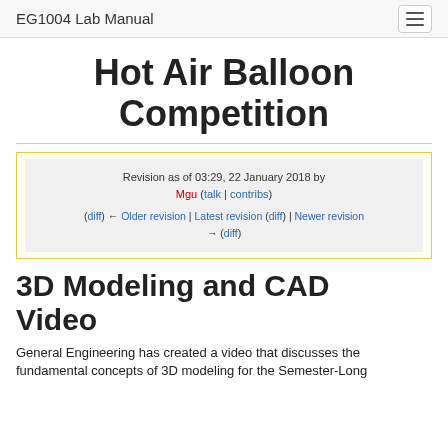EG1004 Lab Manual
Hot Air Balloon Competition
Revision as of 03:29, 22 January 2018 by Mgu (talk | contribs)
(diff) ← Older revision | Latest revision (diff) | Newer revision → (diff)
3D Modeling and CAD Video
General Engineering has created a video that discusses the fundamental concepts of 3D modeling for the Semester-Long